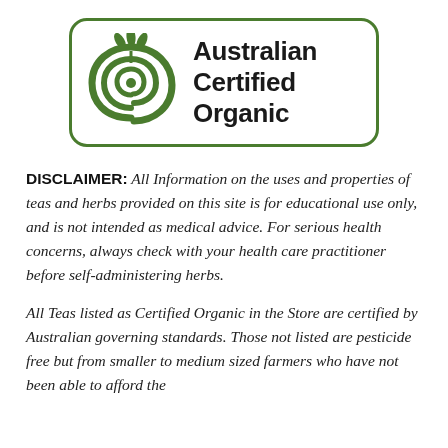[Figure (logo): Australian Certified Organic logo — green spiral leaf symbol inside a rounded-rectangle green border, with bold text 'Australian Certified Organic' to the right]
DISCLAIMER: All Information on the uses and properties of teas and herbs provided on this site is for educational use only, and is not intended as medical advice. For serious health concerns, always check with your health care practitioner before self-administering herbs.
All Teas listed as Certified Organic in the Store are certified by Australian governing standards. Those not listed are pesticide free but from smaller to medium sized farmers who have not been able to afford the